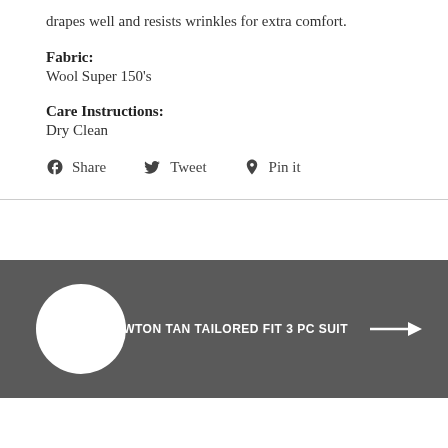drapes well and resists wrinkles for extra comfort.
Fabric:
Wool Super 150's
Care Instructions:
Dry Clean
Share   Tweet   Pin it
Next: LAWTON TAN TAILORED FIT 3 PC SUIT →